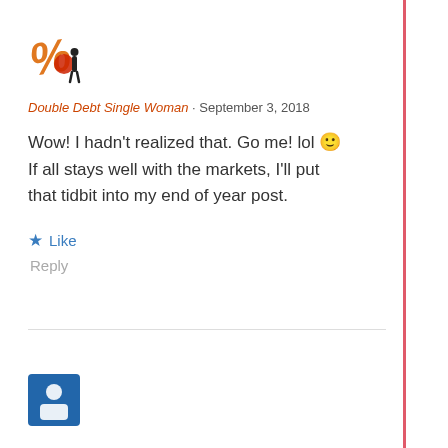[Figure (logo): Double Debt Single Woman blog logo: orange percent sign with red circle and black person silhouette icon]
Double Debt Single Woman · September 3, 2018
Wow! I hadn't realized that. Go me! lol 🙂 If all stays well with the markets, I'll put that tidbit into my end of year post.
★ Like
Reply
[Figure (logo): Partially visible avatar logo at bottom of page]